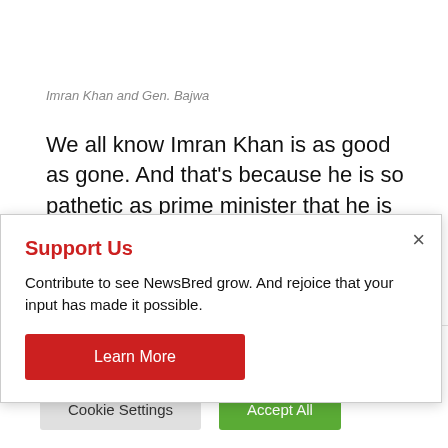Imran Khan and Gen. Bajwa
We all know Imran Khan is as good as gone. And that's because he is so pathetic as prime minister that he is no good for Pakistan nor for the Army which runs the show.
[Figure (screenshot): Modal popup with 'Support Us' heading in red, text 'Contribute to see NewsBred grow. And rejoice that your input has made it possible.' and a red 'Learn More' button. A close (×) button is in the top right corner.]
use of ALL the cookies. However, you may visit "Cookie Settings" to provide a controlled consent.
Cookie Settings  Accept All